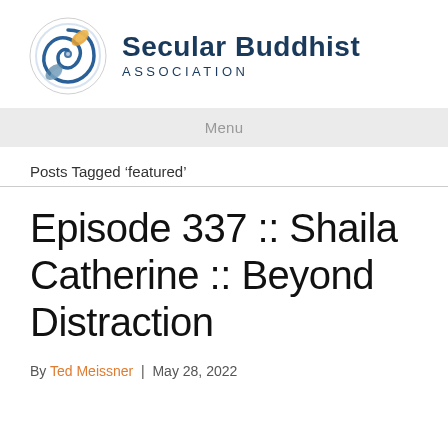[Figure (logo): Secular Buddhist Association logo — circular swirl with blue and orange/gold colors on white background]
Secular Buddhist ASSOCIATION
Menu
Posts Tagged ‘featured’
Episode 337 :: Shaila Catherine :: Beyond Distraction
By Ted Meissner | May 28, 2022